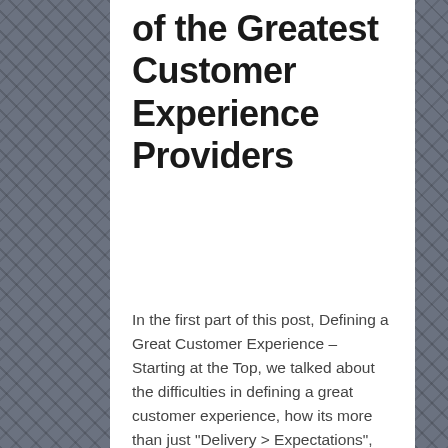of the Greatest Customer Experience Providers
In the first part of this post, Defining a Great Customer Experience – Starting at the Top, we talked about the difficulties in defining a great customer experience, how its more than just “Delivery > Expectations”, and how a great experience starts at the top of the